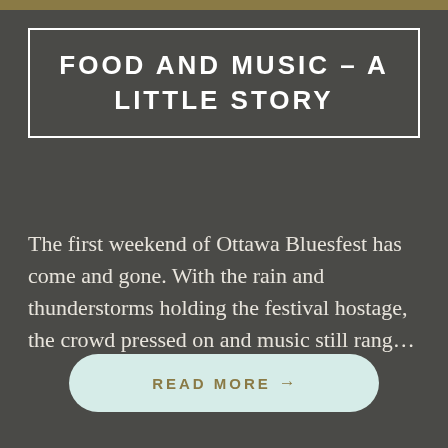FOOD AND MUSIC – A LITTLE STORY
The first weekend of Ottawa Bluesfest has come and gone. With the rain and thunderstorms holding the festival hostage, the crowd pressed on and music still rang...
READ MORE →